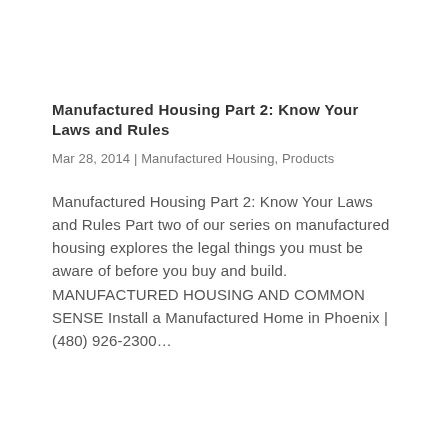Manufactured Housing Part 2: Know Your Laws and Rules
Mar 28, 2014 | Manufactured Housing, Products
Manufactured Housing Part 2: Know Your Laws and Rules Part two of our series on manufactured housing explores the legal things you must be aware of before you buy and build. MANUFACTURED HOUSING AND COMMON SENSE Install a Manufactured Home in Phoenix | (480) 926-2300...